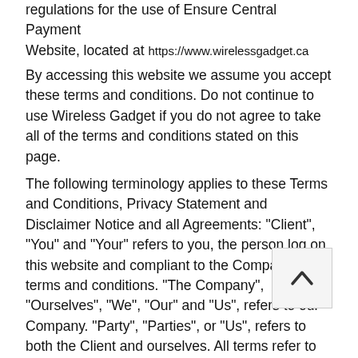regulations for the use of Ensure Central Payment Website, located at https://www.wirelessgadget.ca
By accessing this website we assume you accept these terms and conditions. Do not continue to use Wireless Gadget if you do not agree to take all of the terms and conditions stated on this page.
The following terminology applies to these Terms and Conditions, Privacy Statement and Disclaimer Notice and all Agreements: "Client", "You" and "Your" refers to you, the person log on this website and compliant to the Company's terms and conditions. "The Company", "Ourselves", "We", "Our" and "Us", refers to our Company. "Party", "Parties", or "Us", refers to both the Client and ourselves. All terms refer to the offer, acceptance and consideration of payment necessary to undertake the process of our assistance to the Client in the most appropriate manner for the express purpose of meeting the Client's needs in respect of provision of the Company's stated services, in accordance with and subject to, prevailing law of Netherlands. Any use of the